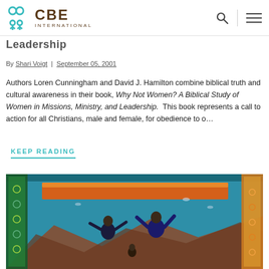CBE International
Leadership
By Shari Voigt | September 05, 2001
Authors Loren Cunningham and David J. Hamilton combine biblical truth and cultural awareness in their book, Why Not Women? A Biblical Study of Women in Missions, Ministry, and Leadership. This book represents a call to action for all Christians, male and female, for obedience to o…
KEEP READING
[Figure (photo): Colorful textile or fabric artwork depicting figures against a vivid blue background with orange, green, and earth tones — appears to show people in a stylized, folk-art manner with mountains and decorative border elements.]